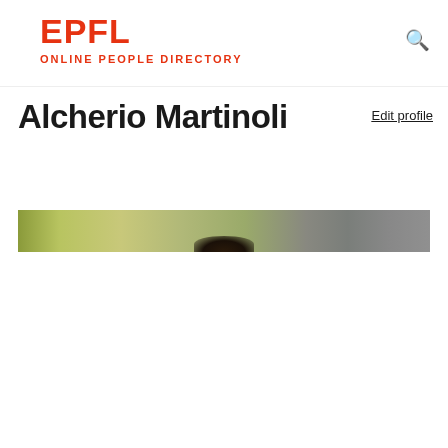EPFL ONLINE PEOPLE DIRECTORY
Alcherio Martinoli
Edit profile
[Figure (photo): Partial profile photo of Alcherio Martinoli showing the top of the head against an olive-green/grey blurred background]